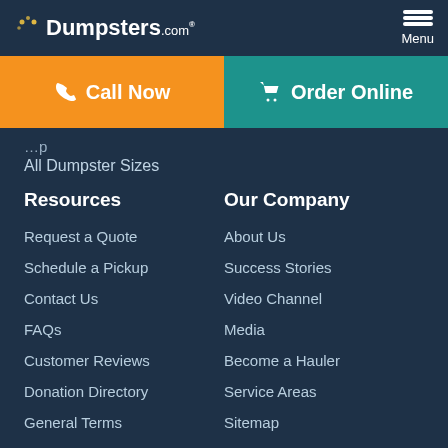Dumpsters.com — Menu
Call Now
Order Online
All Dumpster Sizes
Resources
Our Company
Request a Quote
About Us
Schedule a Pickup
Success Stories
Contact Us
Video Channel
FAQs
Media
Customer Reviews
Become a Hauler
Donation Directory
Service Areas
General Terms
Sitemap